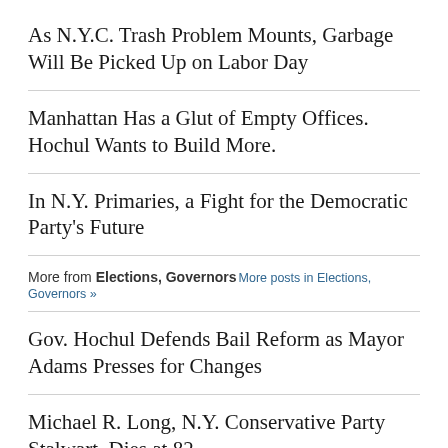As N.Y.C. Trash Problem Mounts, Garbage Will Be Picked Up on Labor Day
Manhattan Has a Glut of Empty Offices. Hochul Wants to Build More.
In N.Y. Primaries, a Fight for the Democratic Party's Future
More from Elections, Governors More posts in Elections, Governors »
Gov. Hochul Defends Bail Reform as Mayor Adams Presses for Changes
Michael R. Long, N.Y. Conservative Party Stalwart, Dies at 82